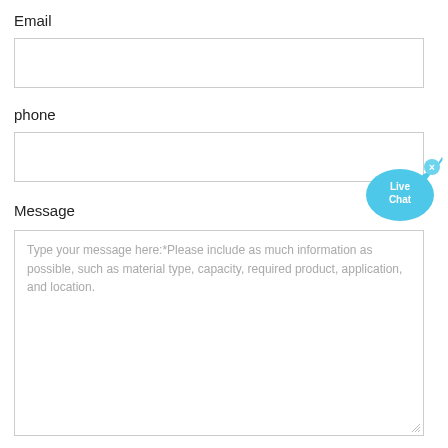Email
[Figure (screenshot): Empty email input text field with light gray border]
phone
[Figure (screenshot): Empty phone input text field with light gray border]
Message
[Figure (screenshot): Live Chat widget bubble in blue with 'Live Chat' text and close button]
Type your message here:*Please include as much information as possible, such as material type, capacity, required product, application, and location.